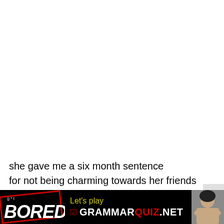she gave me a six month sentence
for not being charming towards her friends
with two hands you eat
one hand to greet
everything she said
[Figure (screenshot): Advertisement banner for GrammarQuiz.net with 'Got BORED??' text on left in red/white stamp style, 'Let's play GRAMMARQUIZ.NET' in yellow/red/white text in center, and a photo of a woman on the right. Black background.]